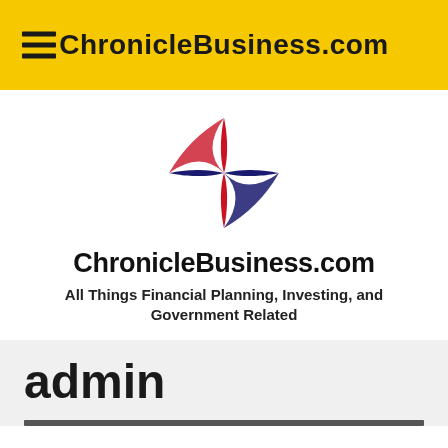ChronicleBusiness.com
[Figure (logo): Four-pointed star logo with red and navy blue coloring forming a compass/star shape]
ChronicleBusiness.com
All Things Financial Planning, Investing, and Government Related
admin